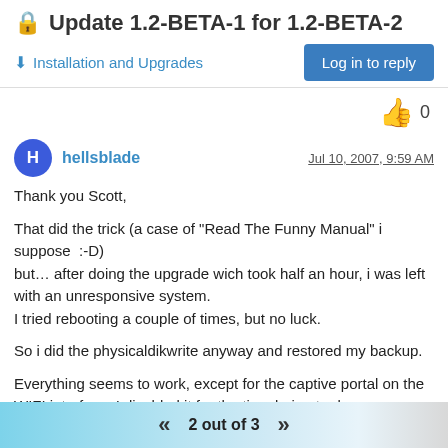Update 1.2-BETA-1 for 1.2-BETA-2
Installation and Upgrades
Log in to reply
👍 0
hellsblade
Jul 10, 2007, 9:59 AM
Thank you Scott,

That did the trick (a case of "Read The Funny Manual" i suppose  :-D)
but… after doing the upgrade wich took half an hour, i was left with an unresponsive system.
I tried rebooting a couple of times, but no luck.

So i did the physicaldikwrite anyway and restored my backup.

Everything seems to work, except for the captive portal on the WIFI interface. I disabled it for the time being to do some further testing.
2 out of 3